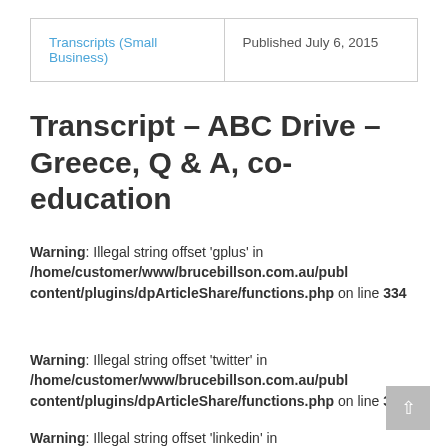Transcripts (Small Business) | Published July 6, 2015
Transcript – ABC Drive – Greece, Q & A, co-education
Warning: Illegal string offset 'gplus' in /home/customer/www/brucebillson.com.au/publ content/plugins/dpArticleShare/functions.php on line 334
Warning: Illegal string offset 'twitter' in /home/customer/www/brucebillson.com.au/publ content/plugins/dpArticleShare/functions.php on line 335
Warning: Illegal string offset 'linkedin' in